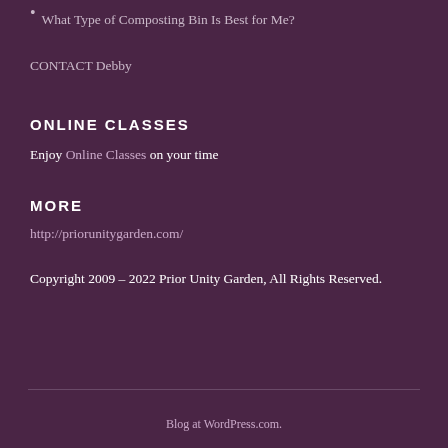What Type of Composting Bin Is Best for Me?
CONTACT Debby
ONLINE CLASSES
Enjoy Online Classes on your time
MORE
http://priorunitygarden.com/
Copyright 2009 – 2022 Prior Unity Garden, All Rights Reserved.
Blog at WordPress.com.